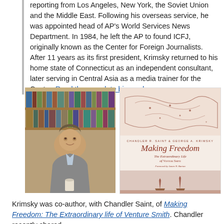reporting from Los Angeles, New York, the Soviet Union and the Middle East. Following his overseas service, he was appointed head of AP's World Services News Department. In 1984, he left the AP to found ICFJ, originally known as the Center for Foreign Journalists. After 11 years as its first president, Krimsky returned to his home state of Connecticut as an independent consultant, later serving in Central Asia as a media trainer for the Center. Read the complete biography.
[Figure (photo): Two images side by side: left is a photo of an older man sitting in front of a bookshelf; right is the book cover of 'Making Freedom: The Extraordinary Life of Venture Smith' by Chandler R. Saint & George A. Krimsky]
Krimsky was co-author, with Chandler Saint, of Making Freedom: The Extraordinary life of Venture Smith. Chandler recently shared